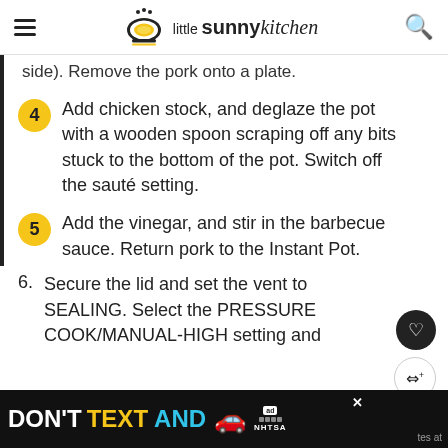little sunny kitchen
side). Remove the pork onto a plate.
4 Add chicken stock, and deglaze the pot with a wooden spoon scraping off any bits stuck to the bottom of the pot. Switch off the sauté setting.
5 Add the vinegar, and stir in the barbecue sauce. Return pork to the Instant Pot.
6. Secure the lid and set the vent to SEALING. Select the PRESSURE COOK/MANUAL-HIGH setting and
[Figure (infographic): Ad banner: DON'T TEXT AND [car emoji] ad NHTSA, with close button and partial text 'tes at']